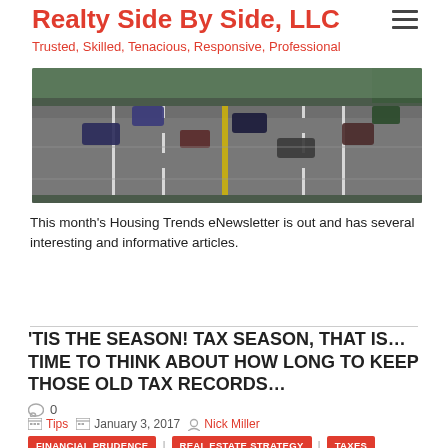Realty Side By Side, LLC
Trusted, Skilled, Tenacious, Responsive, Professional
[Figure (photo): Aerial view of a multi-lane road with cars and traffic, shot from above looking down at the highway.]
This month's Housing Trends eNewsletter is out and has several interesting and informative articles.
READ MORE
'TIS THE SEASON! TAX SEASON, THAT IS…TIME TO THINK ABOUT HOW LONG TO KEEP THOSE OLD TAX RECORDS…
0
Tips  January 3, 2017  Nick Miller
FINANCIAL PRUDENCE | REAL ESTATE STRATEGY | TAXES